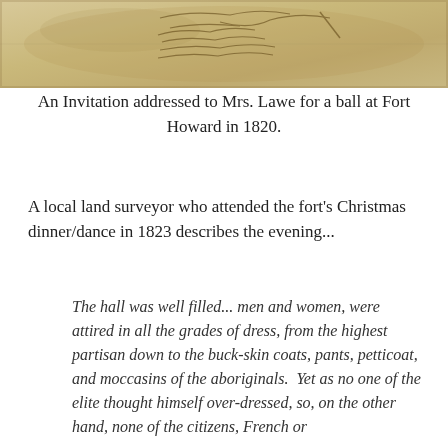[Figure (photo): Aged handwritten document or invitation with cursive script visible, brownish/sepia toned paper]
An Invitation addressed to Mrs. Lawe for a ball at Fort Howard in 1820.
A local land surveyor who attended the fort's Christmas dinner/dance in 1823 describes the evening...
The hall was well filled... men and women, were attired in all the grades of dress, from the highest partisan down to the buck-skin coats, pants, petticoat, and moccasins of the aboriginals.  Yet as no one of the elite thought himself over-dressed, so, on the other hand, none of the citizens, French or